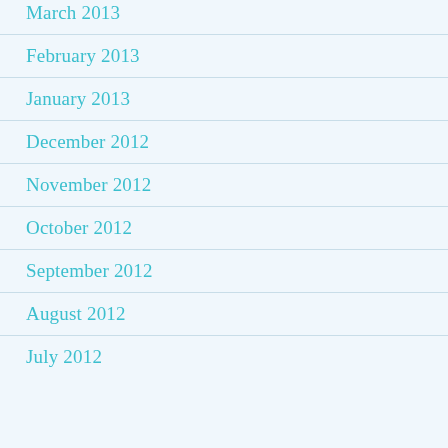March 2013
February 2013
January 2013
December 2012
November 2012
October 2012
September 2012
August 2012
July 2012